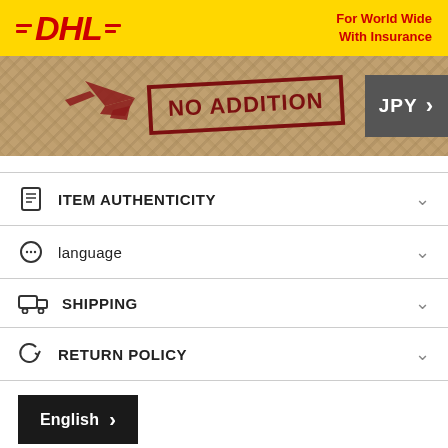[Figure (logo): DHL logo banner with yellow background, red DHL text and 'For World Wide With Insurance' text in red]
[Figure (infographic): Shipping banner with stone background, red airplane silhouette, 'NO ADDITION' stamp text in dark red, and JPY currency button with chevron]
ITEM AUTHENTICITY
language
SHIPPING
RETURN POLICY
[Figure (screenshot): English language button (black with white text and chevron arrow) and bottom image strip]